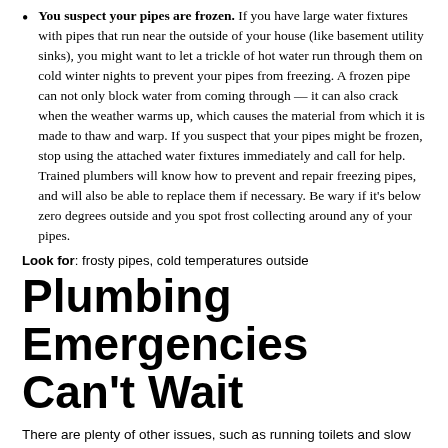You suspect your pipes are frozen. If you have large water fixtures with pipes that run near the outside of your house (like basement utility sinks), you might want to let a trickle of hot water run through them on cold winter nights to prevent your pipes from freezing. A frozen pipe can not only block water from coming through — it can also crack when the weather warms up, which causes the material from which it is made to thaw and warp. If you suspect that your pipes might be frozen, stop using the attached water fixtures immediately and call for help. Trained plumbers will know how to prevent and repair freezing pipes, and will also be able to replace them if necessary. Be wary if it's below zero degrees outside and you spot frost collecting around any of your pipes.
Look for: frosty pipes, cold temperatures outside
Plumbing Emergencies Can't Wait
There are plenty of other issues, such as running toilets and slow running drain clogs, that you might not feel comfortable fixing on your own — but